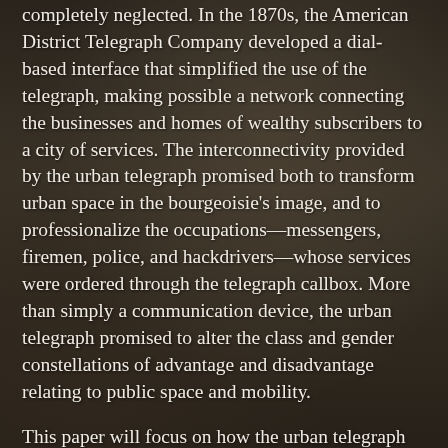completely neglected. In the 1870s, the American District Telegraph Company developed a dial-based interface that simplified the use of the telegraph, making possible a network connecting the businesses and homes of wealthy subscribers to a city of services. The interconnectivity provided by the urban telegraph promised both to transform urban space in the bourgeoisie's image, and to professionalize the occupations—messengers, firemen, police, and hackdrivers—whose services were ordered through the telegraph callbox. More than simply a communication device, the urban telegraph promised to alter the class and gender constellations of advantage and disadvantage relating to public space and mobility.
This paper will focus on how the urban telegraph realigned advantage and disadvantage for both customers and workers, in particular though the provision of dispatched hack service. Telegraph dispatch increased the disadvantage of working-class hackdrivers vis-a-vis their wealthy customers, by constraining drivers' movements, behavior, and control over the negotiation of fares and acquisition of passengers. At the same time, the urban telegraph brought